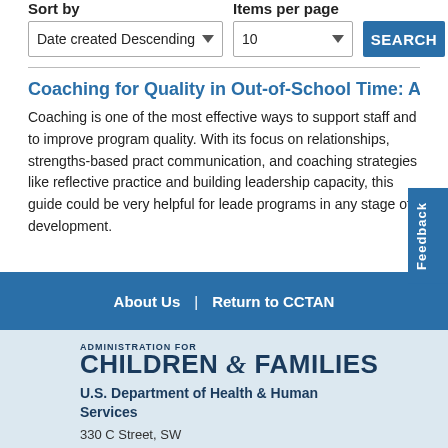Sort by
Items per page
Date created Descending
10
SEARCH
Coaching for Quality in Out-of-School Time: A How To Guide
Coaching is one of the most effective ways to support staff and to improve program quality. With its focus on relationships, strengths-based practice, communication, and coaching strategies like reflective practice and building leadership capacity, this guide could be very helpful for leaders of programs in any stage of development.
About Us | Return to CCTAN
ADMINISTRATION FOR CHILDREN & FAMILIES U.S. Department of Health & Human Services 330 C Street, SW